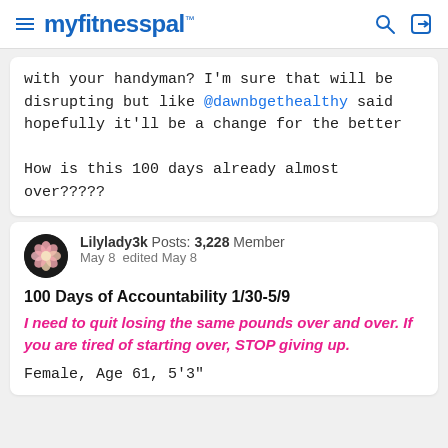myfitnesspal
with your handyman? I'm sure that will be disrupting but like @dawnbgethealthy said hopefully it'll be a change for the better

How is this 100 days already almost over?????
Lilylady3k  Posts: 3,228  Member
May 8  edited May 8
100 Days of Accountability 1/30-5/9
I need to quit losing the same pounds over and over. If you are tired of starting over, STOP giving up.
Female, Age 61, 5'3"